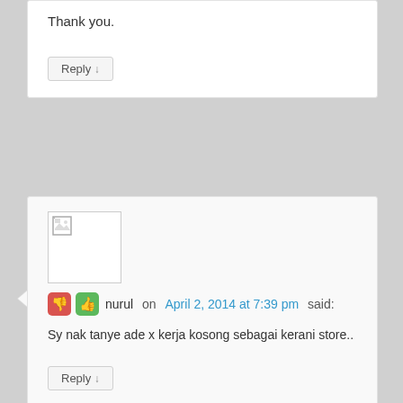Thank you.
Reply ↓
nurul on April 2, 2014 at 7:39 pm said:
Sy nak tanye ade x kerja kosong sebagai kerani store..
Reply ↓
Admin on April 8, 2014 at 1:36 pm said:
Hi Nurul